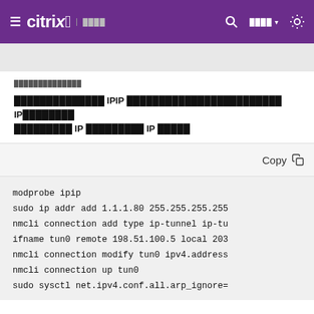≡ citrix ░░░░  🔍  ░░░░ ▾  ✦
░░░░░░░░░░░░░░
░░░░░░░░░░░░░░ IPIP ░░░░░░░░░░░░░░░░░░░░░░░░ IP░░░░░░░░░ ░░░░░░░░░ IP ░░░░░░░░░ IP ░░░░░
[Figure (screenshot): Code block with Copy button and terminal commands: modprobe ipip, sudo ip addr add 1.1.1.80 255.255.255.255, nmcli connection add type ip-tunnel ip-tu, ifname tun0 remote 198.51.100.5 local 203, nmcli connection modify tun0 ipv4.address, nmcli connection up tun0, sudo sysctl net.ipv4.conf.all.arp_ignore=]